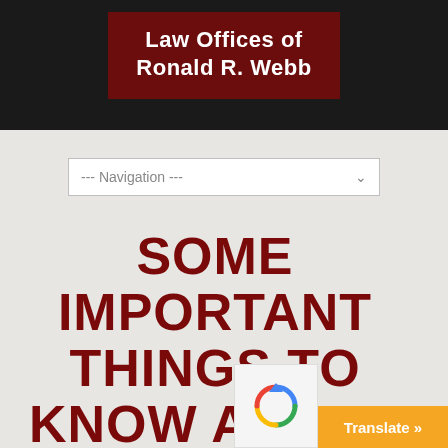Law Offices of Ronald R. Webb
--- Navigation ---
SOME IMPORTANT THINGS TO KNOW ABOUT LIVING WILLS, CARDIFF, CA